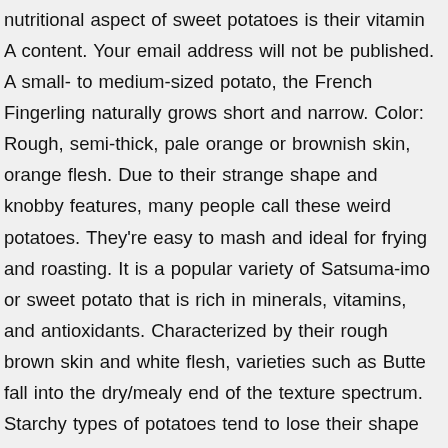nutritional aspect of sweet potatoes is their vitamin A content. Your email address will not be published. A small- to medium-sized potato, the French Fingerling naturally grows short and narrow. Color: Rough, semi-thick, pale orange or brownish skin, orange flesh. Due to their strange shape and knobby features, many people call these weird potatoes. They're easy to mash and ideal for frying and roasting. It is a popular variety of Satsuma-imo or sweet potato that is rich in minerals, vitamins, and antioxidants. Characterized by their rough brown skin and white flesh, varieties such as Butte fall into the dry/mealy end of the texture spectrum. Starchy types of potatoes tend to lose their shape and become fluffy when cooked. With more than 200 potato varieties sold throughout the U.S., finding the right spud for the job depends on how they will be prepared and personal preference. Black Icicle– This is my fav black tomato so far. Potatoes are a member of the nightshade family and will turn green if stored in bright conditions. Your email address will not be published. Color: Light gold skin, light yellow flesh. That is one